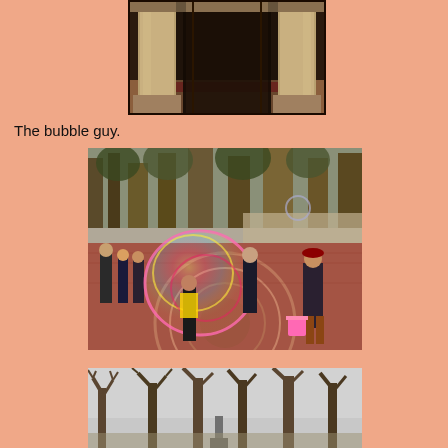[Figure (photo): Architectural columns entrance, stone pillars with dark doorway behind]
The bubble guy.
[Figure (photo): People in a park plaza making large soap bubbles, colorful iridescent bubble in foreground, circular mosaic ground pattern, trees in background, winter, pink bucket on ground]
[Figure (photo): Bare winter trees in a park against overcast sky]